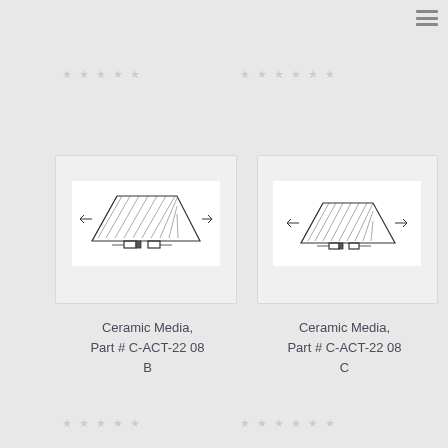[Figure (illustration): Sketch/line drawing of Ceramic Media part C-ACT-22 08 B, showing a trapezoidal filter media component with mounting brackets]
Ceramic Media,
Part # C-ACT-22 08
B
[Figure (illustration): Sketch/line drawing of Ceramic Media part C-ACT-22 08 C, showing a trapezoidal filter media component with mounting brackets (slightly smaller view)]
Ceramic Media,
Part # C-ACT-22 08
C